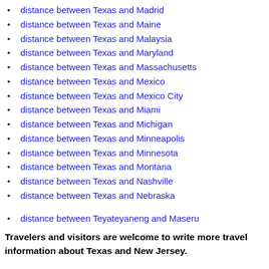distance between Texas and Madrid
distance between Texas and Maine
distance between Texas and Malaysia
distance between Texas and Maryland
distance between Texas and Massachusetts
distance between Texas and Mexico
distance between Texas and Mexico City
distance between Texas and Miami
distance between Texas and Michigan
distance between Texas and Minneapolis
distance between Texas and Minnesota
distance between Texas and Montana
distance between Texas and Nashville
distance between Texas and Nebraska
distance between Teyateyaneng and Maseru
Travelers and visitors are welcome to write more travel information about Texas and New Jersey.